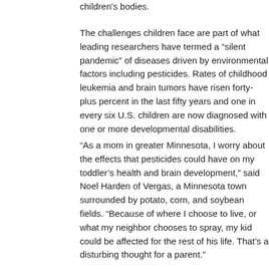children's bodies.
The challenges children face are part of what leading researchers have termed a “silent pandemic” of diseases driven by environmental factors including pesticides. Rates of childhood leukemia and brain tumors have risen forty-plus percent in the last fifty years and one in every six U.S. children are now diagnosed with one or more developmental disabilities.
“As a mom in greater Minnesota, I worry about the effects that pesticides could have on my toddler’s health and brain development,” said Noel Harden of Vergas, a Minnesota town surrounded by potato, corn, and soybean fields. “Because of where I choose to live, or what my neighbor chooses to spray, my kid could be affected for the rest of his life. That’s a disturbing thought for a parent.”
Learn more in the report below.
Here’s the Minnesota factsheet:
Kids on the Frontline-MN Factsheet